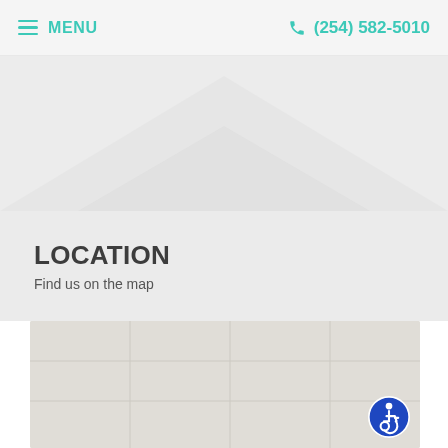MENU   (254) 582-5010
LOCATION
Find us on the map
[Figure (map): Embedded map area showing a location, with an accessibility (wheelchair) icon in the bottom-right corner.]